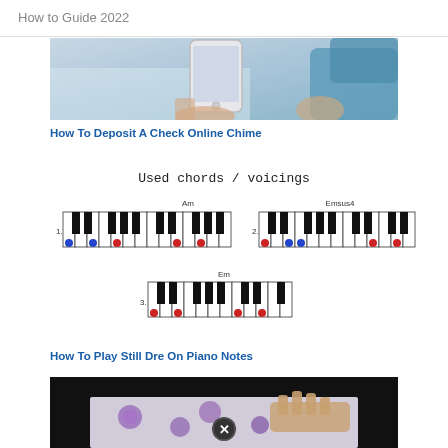How to Guide 2022
[Figure (photo): Person holding a smartphone, partially cropped image showing hands and blue fabric]
How To Deposit A Check Online Chime
[Figure (illustration): Piano chord diagram showing 'Used chords / voicings' with three chord diagrams: Am, Emsus4, and Em, with colored dots indicating finger positions on piano keys]
How To Play Still Dre On Piano Notes
[Figure (photo): Video thumbnail showing hands playing piano on a floral tablecloth, with a close button (X) overlay]